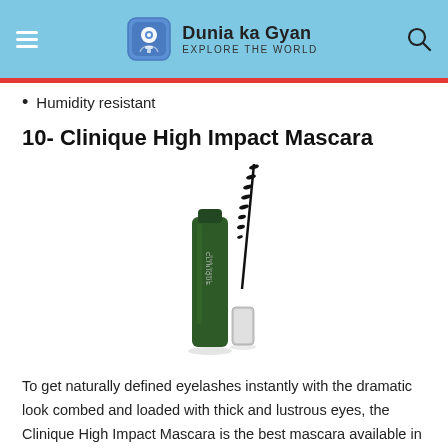Dunia ka Gyan – Explore The World
Humidity resistant
10- Clinique High Impact Mascara
[Figure (photo): Clinique High Impact Mascara product photo showing the dark green tube with the wand/brush beside it and the cap open]
To get naturally defined eyelashes instantly with the dramatic look combed and loaded with thick and lustrous eyes, the Clinique High Impact Mascara is the best mascara available in the market